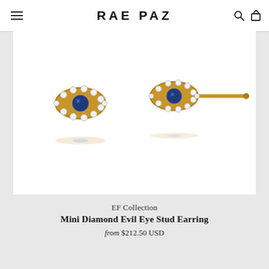RAE PAZ
[Figure (photo): Two gold evil eye stud earrings with blue sapphire center stones surrounded by white diamonds/crystals, shown from front and side profile views on a white background.]
EF Collection
Mini Diamond Evil Eye Stud Earring
from $212.50 USD